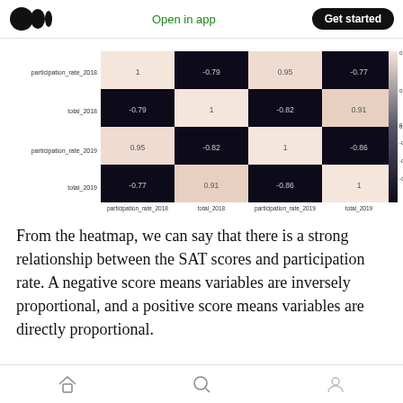Medium logo | Open in app | Get started
[Figure (other): Correlation heatmap showing 4x4 matrix of participation_rate_2018, total_2018, participation_rate_2019, total_2019. Values: (participation_rate_2018, participation_rate_2018)=1, (participation_rate_2018, total_2018)=-0.79, (participation_rate_2018, participation_rate_2019)=0.95, (participation_rate_2018, total_2019)=-0.77; (total_2018, participation_rate_2018)=-0.79, (total_2018, total_2018)=1, (total_2018, participation_rate_2019)=-0.82, (total_2018, total_2019)=0.91; (participation_rate_2019, participation_rate_2018)=0.95, (participation_rate_2019, total_2018)=-0.82, (participation_rate_2019, participation_rate_2019)=1, (participation_rate_2019, total_2019)=-0.86; (total_2019, participation_rate_2018)=-0.77, (total_2019, total_2018)=0.91, (total_2019, participation_rate_2019)=-0.86, (total_2019, total_2019)=1. Color scale from -0.75 to 0.75.]
From the heatmap, we can say that there is a strong relationship between the SAT scores and participation rate. A negative score means variables are inversely proportional, and a positive score means variables are directly proportional.
Navigation icons: home, search, profile